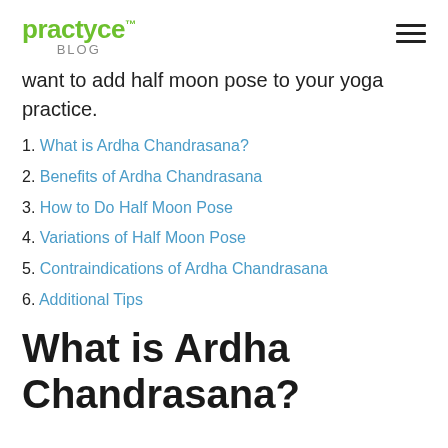practyce. BLOG
want to add half moon pose to your yoga practice.
1. What is Ardha Chandrasana?
2. Benefits of Ardha Chandrasana
3. How to Do Half Moon Pose
4. Variations of Half Moon Pose
5. Contraindications of Ardha Chandrasana
6. Additional Tips
What is Ardha Chandrasana?